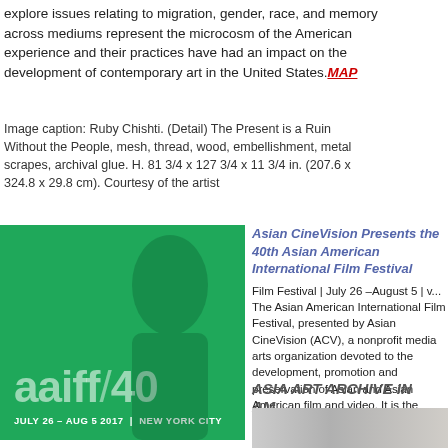explore issues relating to migration, gender, race, and memory across mediums represent the microcosm of the American experience and their practices have had an impact on the development of contemporary art in the United States. MAP
Image caption: Ruby Chishti. (Detail) The Present is a Ruin Without the People, mesh, thread, wood, embellishment, metal scrapes, archival glue. H. 81 3/4 x 127 3/4 x 11 3/4 in. (207.6 x 324.8 x 29.8 cm). Courtesy of the artist
[Figure (photo): Green promotional image for aaiff40 (Asian American International Film Festival 40th edition), July 26 - Aug 5 2017, New York City, with large semi-transparent white text 'aaiff/40' and a silhouetted figure in background]
Asian CineVision Presents the 40th Asian American International Film Festival
Film Festival | July 26 –August 5 | v... The Asian American International Film Festival, presented by Asian CineVision (ACV), a nonprofit media arts organization devoted to the development, promotion and preservation of Asian and Asian American film and video. It is the longest running festival of its kind and a leading presenter of independent Asian and Asian American cinema.
ASIA ART ARCHIVE IN AMERICA
[Figure (photo): Partial photograph showing what appears to be a person's leg/boot near a floor surface, bottom of page]